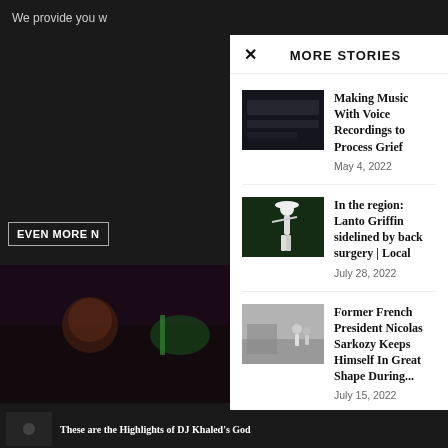We provide you w
MORE STORIES
Making Music With Voice Recordings to Process Grief — May 4, 2022
In the region: Lanto Griffin sidelined by back surgery | Local — July 28, 2022
Former French President Nicolas Sarkozy Keeps Himself In Great Shape During... — July 15, 2022
EVEN MORE N
These are the Highlights of DJ Khaled's God